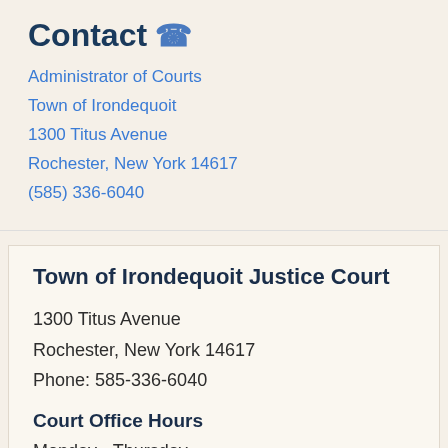Contact
Administrator of Courts
Town of Irondequoit
1300 Titus Avenue
Rochester, New York 14617
(585) 336-6040
Town of Irondequoit Justice Court
1300 Titus Avenue
Rochester, New York 14617
Phone: 585-336-6040
Court Office Hours
Monday - Thursday
9:00 a.m. to 5:00 p.m.